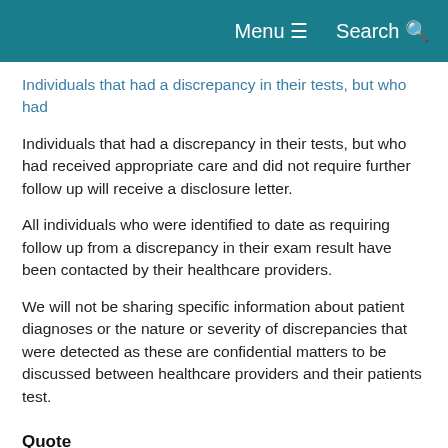Menu  Search
Individuals that had a discrepancy in their tests, but who had received appropriate care and did not require further follow up will receive a disclosure letter.
All individuals who were identified to date as requiring follow up from a discrepancy in their exam result have been contacted by their healthcare providers.
We will not be sharing specific information about patient diagnoses or the nature or severity of discrepancies that were detected as these are confidential matters to be discussed between healthcare providers and their patients test.
Quote